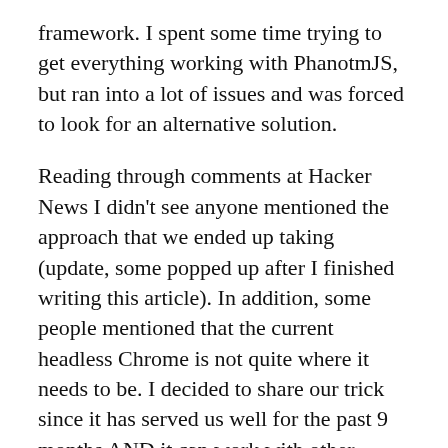framework. I spent some time trying to get everything working with PhanotmJS, but ran into a lot of issues and was forced to look for an alternative solution.
Reading through comments at Hacker News I didn't see anyone mentioned the approach that we ended up taking (update, some popped up after I finished writing this article). In addition, some people mentioned that the current headless Chrome is not quite where it needs to be. I decided to share our trick since it has served us well for the past 9 months AND it can work with other browsers.